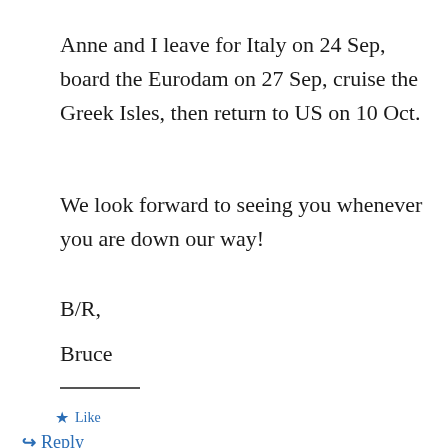Anne and I leave for Italy on 24 Sep, board the Eurodam on 27 Sep, cruise the Greek Isles, then return to US on 10 Oct.
We look forward to seeing you whenever you are down our way!
B/R,
Bruce
★ Like
↳ Reply